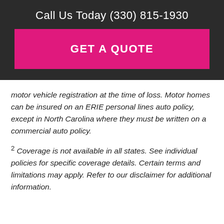Call Us Today (330) 815-1930
GET A QUOTE
motor vehicle registration at the time of loss. Motor homes can be insured on an ERIE personal lines auto policy, except in North Carolina where they must be written on a commercial auto policy.
2 Coverage is not available in all states. See individual policies for specific coverage details. Certain terms and limitations may apply. Refer to our disclaimer for additional information.